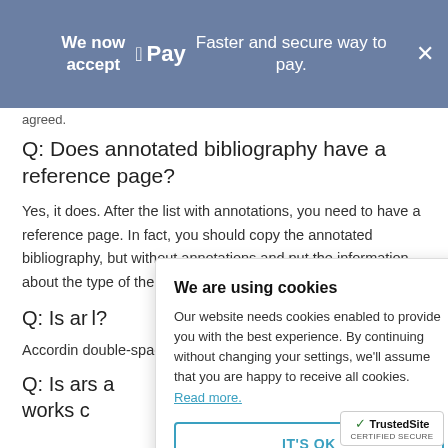We now accept  Apple Pay  Faster and secure way to pay.
agreed.
Q: Does annotated bibliography have a reference page?
Yes, it does. After the list with annotations, you need to have a reference page. In fact, you should copy the annotated bibliography, but without annotations and put the information about the type of the resource. It can be an article fr...
Q: Is an... ...?
Accordin... double-spaced. A... less he or she ha... formats.
Q: Is an... ...s a works c...
We are using cookies
Our website needs cookies enabled to provide you with the best experience. By continuing without changing your settings, we'll assume that you are happy to receive all cookies. Read more.
IT'S OK